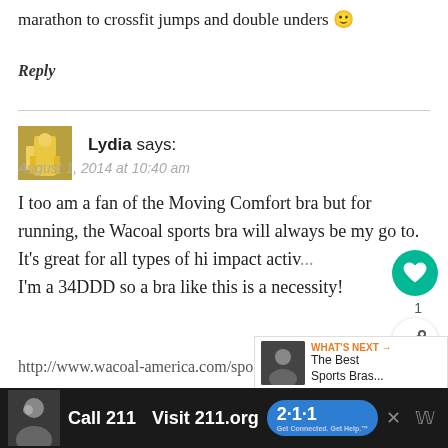marathon to crossfit jumps and double unders 🙂
Reply
Lydia says:
August 1, 2014 at 10:40 am
I too am a fan of the Moving Comfort bra but for running, the Wacoal sports bra will always be my go to. It's great for all types of hi impact activ... I'm a 34DDD so a bra like this is a necessity!
http://www.wacoal-america.com/spo...
underwire-bra-wacoal-855170-p.html
[Figure (screenshot): Social share overlay with heart button (1 like) and share button]
[Figure (screenshot): WHAT'S NEXT overlay showing The Best Sports Bras...]
[Figure (screenshot): Ad banner: Call 211 | Visit 211.org badge in dark background with person photo]